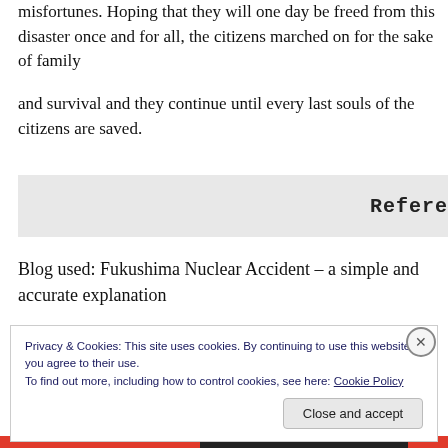misfortunes. Hoping that they will one day be freed from this disaster once and for all, the citizens marched on for the sake of family

and survival and they continue until every last souls of the citizens are saved.
Refere
Blog used: Fukushima Nuclear Accident – a simple and accurate explanation
Privacy & Cookies: This site uses cookies. By continuing to use this website, you agree to their use.
To find out more, including how to control cookies, see here: Cookie Policy

Close and accept